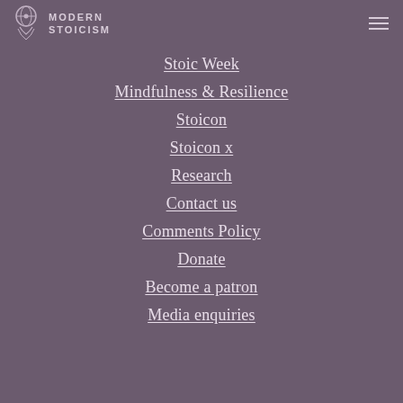MODERN STOICISM
Stoic Week
Mindfulness & Resilience
Stoicon
Stoicon x
Research
Contact us
Comments Policy
Donate
Become a patron
Media enquiries